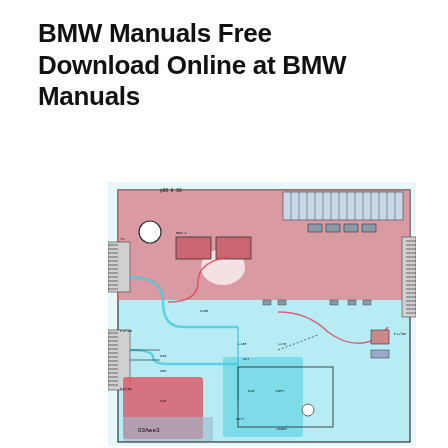BMW Manuals Free Download Online at BMW Manuals
[Figure (circuit-diagram): PCB circuit board schematic diagram showing a complex printed circuit board layout with traces, components, connectors, and component labels. The board features red and cyan/light blue color layers overlaid, with various ICs, connectors along the edges, capacitors, resistors, and labeled traces. Component designators and text labels are visible throughout the board layout.]